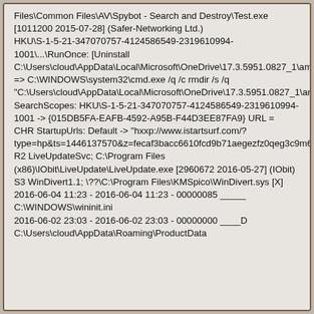Files\Common Files\AV\Spybot - Search and Destroy\Test.exe [1011200 2015-07-28] (Safer-Networking Ltd.) HKU\S-1-5-21-347070757-4124586549-2319610994-1001\...\RunOnce: [Uninstall C:\Users\cloud\AppData\Local\Microsoft\OneDrive\17.3.5951.0827_1\amd64] => C:\WINDOWS\system32\cmd.exe /q /c rmdir /s /q "C:\Users\cloud\AppData\Local\Microsoft\OneDrive\17.3.5951.0827_1\amd64" SearchScopes: HKU\S-1-5-21-347070757-4124586549-2319610994-1001 -> {015DB5FA-EAFB-4592-A95B-F44D3EE87FA9} URL = CHR StartupUrls: Default -> "hxxp://www.istartsurf.com/?type=hp&ts=1446137570&z=fecaf3bacc6610fcd9b71aegezfz0qeg3c9m6m6z9t&from=cor&uid=SamsungXSSDX840XSeries_S14ENEACB30221X" R2 LiveUpdateSvc; C:\Program Files (x86)\IObit\LiveUpdate\LiveUpdate.exe [2960672 2016-05-27] (IObit) S3 WinDivert1.1; \??\C:\Program Files\KMSpico\WinDivert.sys [X] 2016-06-04 11:23 - 2016-06-04 11:23 - 00000085 _____ C:\WINDOWS\wininit.ini 2016-06-02 23:03 - 2016-06-02 23:03 - 00000000 ____D C:\Users\cloud\AppData\Roaming\ProductData